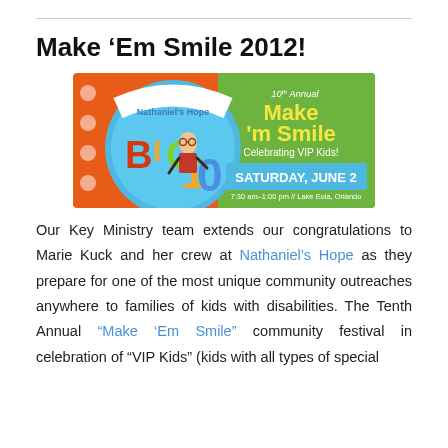Make ‘Em Smile 2012!
[Figure (illustration): Nathaniel's Hope BIG 10 event banner. Left side shows colorful cartoon letters B-I-G 10 on orange and blue background with a cartoon boy. Right side on green background shows '10th Annual Make ‘m Smile Celebrating VIP Kids! SATURDAY, JUNE 2, 7:30 am-1:00 pm // Lake Eola, Orlando']
Our Key Ministry team extends our congratulations to Marie Kuck and her crew at Nathaniel’s Hope as they prepare for one of the most unique community outreaches anywhere to families of kids with disabilities. The Tenth Annual “Make ‘Em Smile” community festival in celebration of “VIP Kids” (kids with all types of special